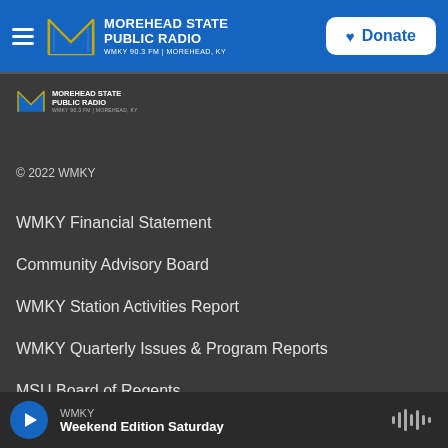MOREHEAD STATE PUBLIC RADIO — WMKY 90.3 FM | MOREHEAD, KY
[Figure (logo): Morehead State Public Radio logo with stylized M in blue and gold, small version in dark content area]
© 2022 WMKY
WMKY Financial Statement
Community Advisory Board
WMKY Station Activities Report
WMKY Quarterly Issues & Program Reports
MSU Board of Regents
Diversity Policy
WMKY — Weekend Edition Saturday